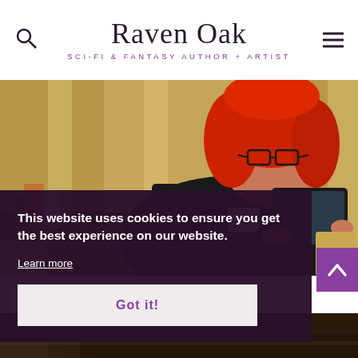Raven Oak — SCI-FI & FANTASY AUTHOR + ARTIST
[Figure (photo): Woman with bright red hair and glasses sitting in a chair holding a tablet device, wearing a black jacket, with golden curtains in the background. Books visible on a table to the left.]
This website uses cookies to ensure you get the best experience on our website.
Learn more
Got it!